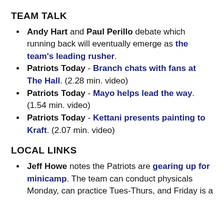TEAM TALK
Andy Hart and Paul Perillo debate which running back will eventually emerge as the team's leading rusher.
Patriots Today - Branch chats with fans at The Hall. (2.28 min. video)
Patriots Today - Mayo helps lead the way. (1.54 min. video)
Patriots Today - Kettani presents painting to Kraft. (2.07 min. video)
LOCAL LINKS
Jeff Howe notes the Patriots are gearing up for minicamp. The team can conduct physicals Monday, can practice Tues-Thurs, and Friday is a